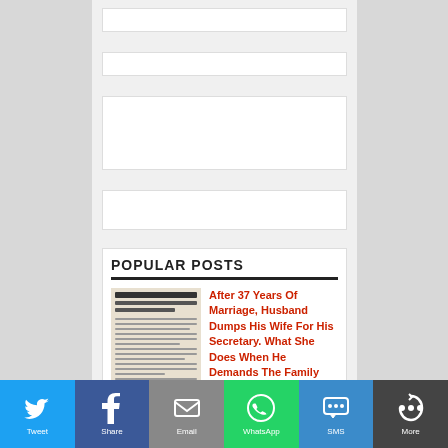POPULAR POSTS
[Figure (photo): Thumbnail image for article about marriage/divorce]
After 37 Years Of Marriage, Husband Dumps His Wife For His Secretary. What She Does When He Demands The Family Home Is Priceless!
via   www.themindawakened.com
[Figure (photo): Thumbnail image of couple for chivalrous habits article]
9 Chivalrous Habits Of A True Gentleman That Make Women Melt
Twitter | Facebook | Email | WhatsApp | SMS | More